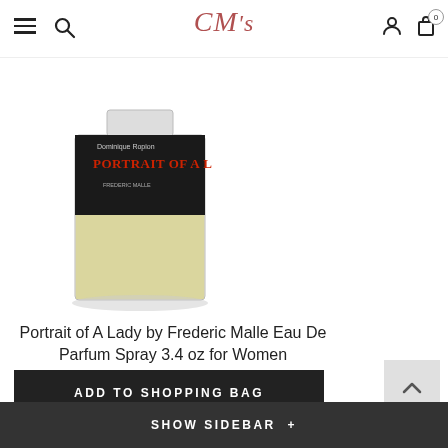Marsha's - navigation bar with hamburger menu, search, logo, user account, and cart (0 items)
[Figure (photo): Portrait of A Lady perfume bottle by Frederic Malle - dark label with red text on a clear glass bottle containing pale yellow liquid]
Portrait of A Lady by Frederic Malle Eau De Parfum Spray 3.4 oz for Women
★★★★★ (0 stars - no reviews)
$630.00
ADD TO SHOPPING BAG
SHOW SIDEBAR +